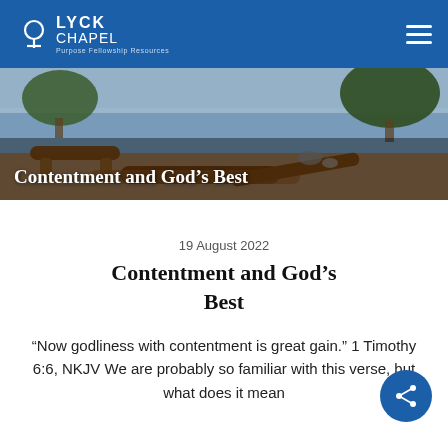LYCK CHAPEL
[Figure (photo): Outdoor scene with wooden log benches by a lake, trees in background, with title text 'Contentment and God's Best' overlaid at bottom left]
19 August 2022
Contentment and God's Best
"Now godliness with contentment is great gain." 1 Timothy 6:6, NKJV We are probably so familiar with this verse, but what does it mean